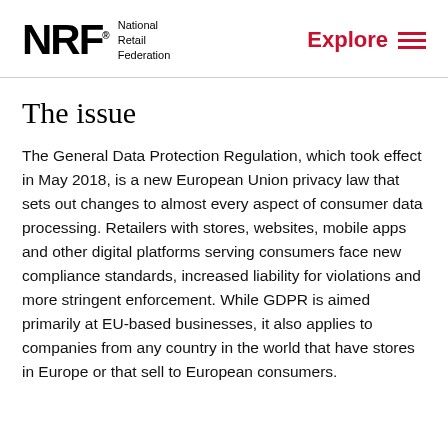NRF National Retail Federation | Explore
The issue
The General Data Protection Regulation, which took effect in May 2018, is a new European Union privacy law that sets out changes to almost every aspect of consumer data processing. Retailers with stores, websites, mobile apps and other digital platforms serving consumers face new compliance standards, increased liability for violations and more stringent enforcement. While GDPR is aimed primarily at EU-based businesses, it also applies to companies from any country in the world that have stores in Europe or that sell to European consumers.